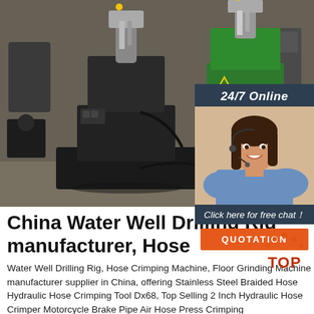[Figure (photo): Two large black and green water well drilling rigs/machines in an industrial workshop setting, photographed from the front. Dark concrete floor, industrial background.]
[Figure (photo): Customer service representative — a smiling dark-haired woman wearing a headset, with a '24/7 Online' banner above and 'Click here for free chat!' and 'QUOTATION' button below on a dark navy panel.]
China Water Well Drilling Rig manufacturer, Hose
Water Well Drilling Rig, Hose Crimping Machine, Floor Grinding Machine manufacturer supplier in China, offering Stainless Steel Braided Hose Hydraulic Hose Crimping Tool Dx68, Top Selling 2 Inch Hydraulic Hose Crimper Motorcycle Brake Pipe Air Hose Press Crimping
[Figure (logo): Red and dark 'TOP' badge with upward arrow icon, indicating a 'back to top' button.]